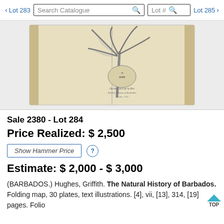< Lot 283 | Search Catalogue | Lot # | Lot 285 >
[Figure (photo): Open book showing a botanical illustration of a palm tree with decorative cartouche text beneath it, printed on aged cream-colored pages.]
Sale 2380 - Lot 284
Price Realized: $ 2,500
Show Hammer Price
Estimate: $ 2,000 - $ 3,000
(BARBADOS.) Hughes, Griffith. The Natural History of Barbados. Folding map, 30 plates, text illustrations. [4], vii, [13], 314, [19] pages. Folio